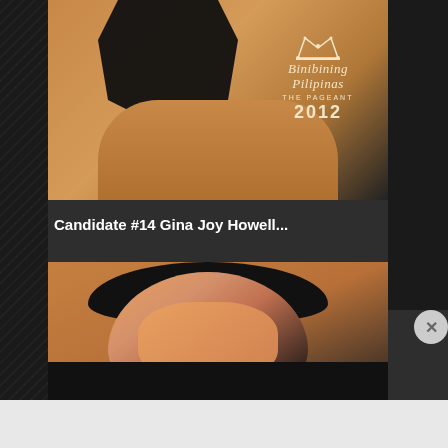[Figure (photo): Top portion of a Binibining Pilipinas 2012 pageant photo showing a contestant in a black swimsuit against an orange background, with the Binibining Pilipinas The Pageant 2012 logo in cream/gold lettering with a crown]
Candidate #14 Gina Joy Howell...
[Figure (photo): Bottom portion showing a close-up of a female pageant contestant with dark hair and makeup, posed against an orange background]
Advertisements
[Figure (infographic): DuckDuckGo advertisement banner with orange background reading 'Search, browse, and email with more privacy. All in One Free App' with DuckDuckGo logo on a smartphone mockup]